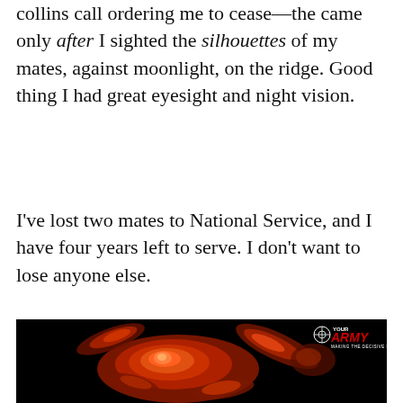collins call ordering me to cease—the came only after I sighted the silhouettes of my mates, against moonlight, on the ridge. Good thing I had great eyesight and night vision.
I've lost two mates to National Service, and I have four years left to serve. I don't want to lose anyone else.
[Figure (photo): Dark, high-contrast photo with red-orange infrared tones showing a person in motion, with the Army logo (Your Army, Making the Decisive Force) in the top right corner.]